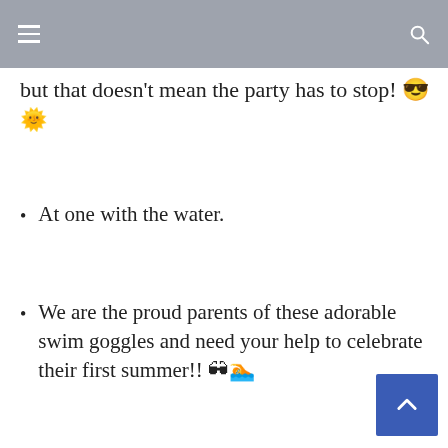but that doesn't mean the party has to stop! 😎🌞
At one with the water.
We are the proud parents of these adorable swim goggles and need your help to celebrate their first summer!! 🕶🏊